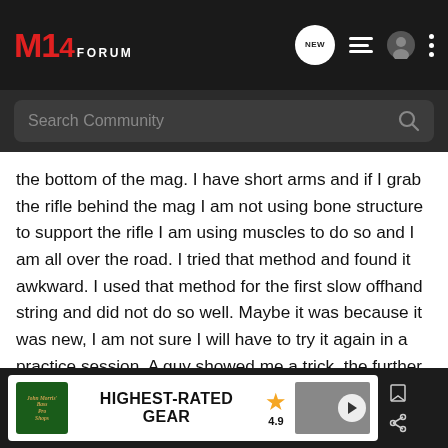M14FORUM
the bottom of the mag. I have short arms and if I grab the rifle behind the mag I am not using bone structure to support the rifle I am using muscles to do so and I am all over the road. I tried that method and found it awkward. I used that method for the first slow offhand string and did not do so well. Maybe it was because it was new, I am not sure I will have to try it again in a practice session. A guy showed me a trick, the further you get your elbow forward on your stomach the higher you can support the rifle. For now I am sticking to the bottom of the mag. One thing you have to be careful of doing that is not to drop the mag out of the action.
[Figure (screenshot): Bass Pro Shops advertisement banner: HIGHEST-RATED GEAR, rating 4.9 stars]